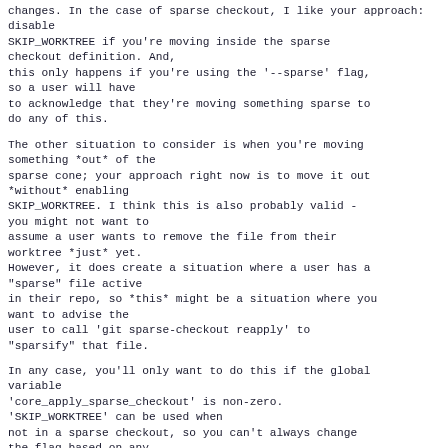changes. In the case of sparse checkout, I like your approach: disable
SKIP_WORKTREE if you're moving inside the sparse
checkout definition. And,
this only happens if you're using the '--sparse' flag,
so a user will have
to acknowledge that they're moving something sparse to
do any of this.
The other situation to consider is when you're moving
something *out* of the
sparse cone; your approach right now is to move it out
*without* enabling
SKIP_WORKTREE. I think this is also probably valid -
you might not want to
assume a user wants to remove the file from their
worktree *just* yet.
However, it does create a situation where a user has a
"sparse" file active
in their repo, so *this* might be a situation where you
want to advise the
user to call 'git sparse-checkout reapply' to
"sparsify" that file.
In any case, you'll only want to do this if the global
variable
'core_apply_sparse_checkout' is non-zero.
'SKIP_WORKTREE' can be used when
not in a sparse checkout, so you can't always change
the flag based on any
sparse patterns (because there might not be any!).